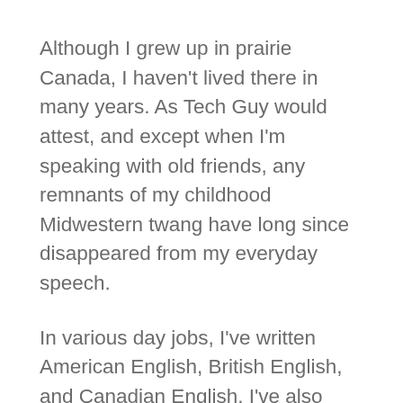Although I grew up in prairie Canada, I haven't lived there in many years. As Tech Guy would attest, and except when I'm speaking with old friends, any remnants of my childhood Midwestern twang have long since disappeared from my everyday speech.
In various day jobs, I've written American English, British English, and Canadian English. I've also produced magazines and e-Newsletters in multiple languages, and worked for several years in a bilingual, English-French environment where meetings often took place in both of Canada's official languages.